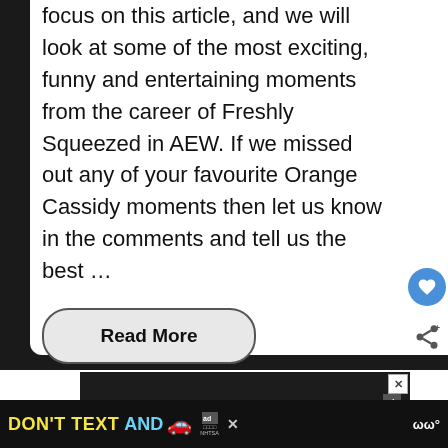focus on this article, and we will look at some of the most exciting, funny and entertaining moments from the career of Freshly Squeezed in AEW. If we missed out any of your favourite Orange Cassidy moments then let us know in the comments and tell us the best …
Read More
[Figure (screenshot): DON'T TEXT AND [car emoji] advertisement banner - NHTSA anti-texting and driving public service ad with yellow and cyan text on dark background, with ad badge and close button]